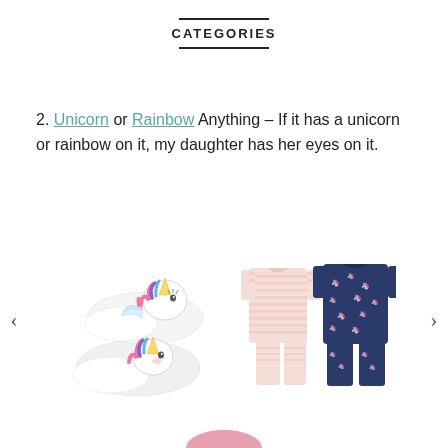CATEGORIES
2. Unicorn or Rainbow Anything – If it has a unicorn or rainbow on it, my daughter has her eyes on it.
[Figure (photo): Unicorn plush slippers — white fluffy slipper shoes shaped like unicorns with pink and purple mane details, shown as a pair.]
[Figure (photo): Children's pajama set — a light pink striped top paired with a navy blue set featuring white unicorn print.]